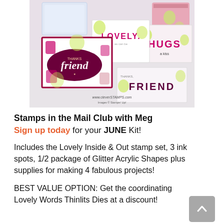[Figure (photo): Photo of handmade greeting cards using the Lovely Inside & Out stamp set from Stampin' Up! Cards show the words LOVELY, HUGS, friend, and FRIEND in pink, magenta, and lime green colors. Watermark reads www.cleverstamps.com, Images © Stampin' Up!]
Stamps in the Mail Club with Meg
Sign up today for your JUNE Kit!
Includes the Lovely Inside & Out stamp set, 3 ink spots, 1/2 package of Glitter Acrylic Shapes plus supplies for making 4 fabulous projects!
BEST VALUE OPTION: Get the coordinating Lovely Words Thinlits Dies at a discount!